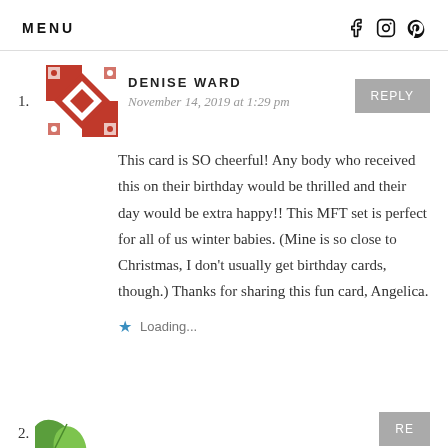MENU
DENISE WARD
November 14, 2019 at 1:29 pm
This card is SO cheerful! Any body who received this on their birthday would be thrilled and their day would be extra happy!! This MFT set is perfect for all of us winter babies. (Mine is so close to Christmas, I don't usually get birthday cards, though.) Thanks for sharing this fun card, Angelica.
Loading...